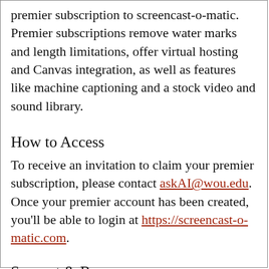premier subscription to screencast-o-matic. Premier subscriptions remove water marks and length limitations, offer virtual hosting and Canvas integration, as well as features like machine captioning and a stock video and sound library.
How to Access
To receive an invitation to claim your premier subscription, please contact askAI@wou.edu. Once your premier account has been created, you'll be able to login at https://screencast-o-matic.com.
Support & Resources
Support is available through the Screencast-